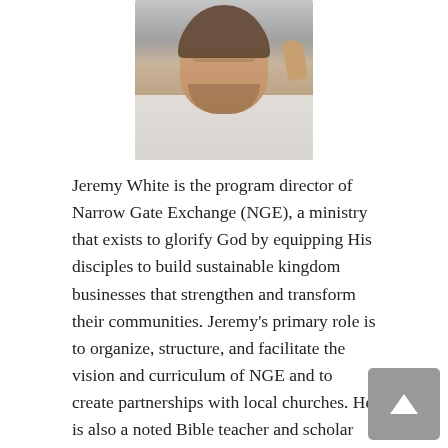[Figure (photo): Portrait photo of Jeremy White, a man with short dark hair and stubble, wearing a white shirt, looking slightly to the side with one hand near his face.]
Jeremy White is the program director of Narrow Gate Exchange (NGE), a ministry that exists to glorify God by equipping His disciples to build sustainable kingdom businesses that strengthen and transform their communities. Jeremy's primary role is to organize, structure, and facilitate the vision and curriculum of NGE and to create partnerships with local churches. He is also a noted Bible teacher and scholar who holds a Masters of Divinity from Lipscomb University, Nashville, Tennessee, and a Ph.D. in Biblical Studies & Leadership from the University of Kent, Canterbury, United Kingdom.
With nearly eight hours of video training and 25 lessons divided over two courses, each coupled with extensive